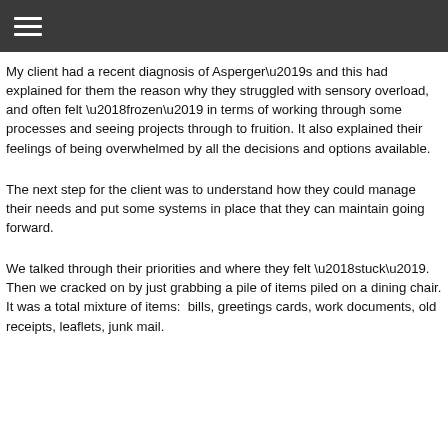≡
My client had a recent diagnosis of Asperger’s and this had explained for them the reason why they struggled with sensory overload, and often felt ‘frozen’ in terms of working through some processes and seeing projects through to fruition. It also explained their feelings of being overwhelmed by all the decisions and options available.
The next step for the client was to understand how they could manage their needs and put some systems in place that they can maintain going forward.
We talked through their priorities and where they felt ‘stuck’. Then we cracked on by just grabbing a pile of items piled on a dining chair. It was a total mixture of items:  bills, greetings cards, work documents, old receipts, leaflets, junk mail.